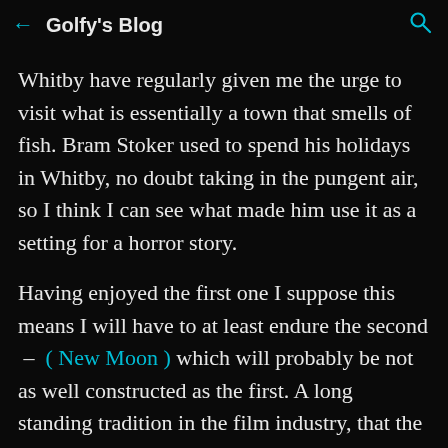← Golfy's Blog 🔍
Whitby have regularly given me the urge to visit what is essentially a town that smells of fish. Bram Stoker used to spend his holidays in Whitby, no doubt taking in the pungent air, so I think I can see what made him use it as a setting for a horror story.
Having enjoyed the first one I suppose this means I will have to at least endure the second - ( New Moon ) which will probably be not as well constructed as the first. A long standing tradition in the film industry, that the second film is always